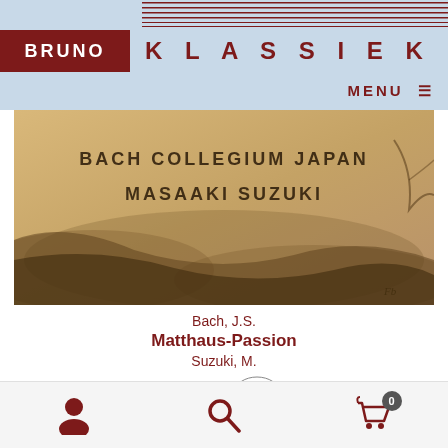BRUNO KLASSIEK
MENU
[Figure (photo): Album cover showing BACH COLLEGIUM JAPAN / MASAAKI SUZUKI text on a sepia-toned background with landscape imagery]
Bach, J.S.
Matthaus-Passion
Suzuki, M.
€36.99
Bestel